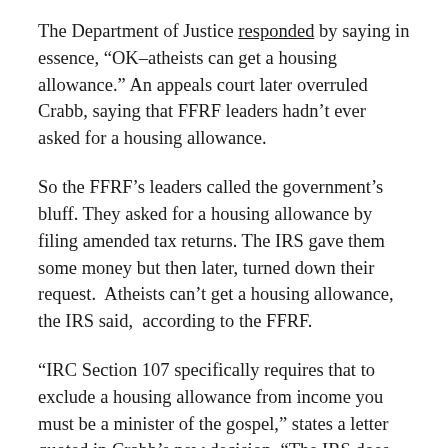The Department of Justice responded by saying in essence, “OK–atheists can get a housing allowance.” An appeals court later overruled Crabb, saying that FFRF leaders hadn’t ever asked for a housing allowance.
So the FFRF’s leaders called the government’s bluff. They asked for a housing allowance by filing amended tax returns. The IRS gave them some money but then later, turned down their request. Atheists can’t get a housing allowance, the IRS said, according to the FFRF.
“IRC Section 107 specifically requires that to exclude a housing allowance from income you must be a minister of the gospel,” states a letter quoted in Crabb’s new decision. “The IRS does not have the authority to interpret this to include anyone other than those who meet this definition.”